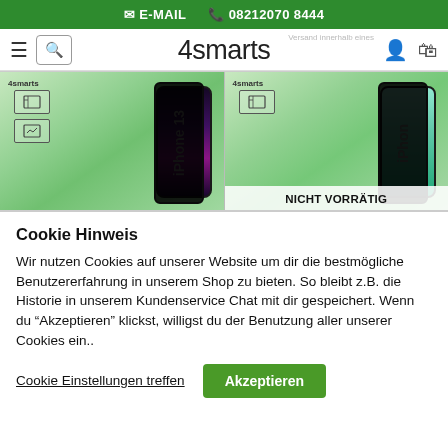E-MAIL  08212070 8444
[Figure (screenshot): 4smarts shop navigation bar with hamburger menu, search icon, logo, user icon, and cart icon]
[Figure (screenshot): Two product images: iPhone 13 screen protector (left) and another iPhone model marked NICHT VORRÄTIG (out of stock, right)]
Cookie Hinweis
Wir nutzen Cookies auf unserer Website um dir die bestmögliche Benutzererfahrung in unserem Shop zu bieten. So bleibt z.B. die Historie in unserem Kundenservice Chat mit dir gespeichert. Wenn du "Akzeptieren" klickst, willigst du der Benutzung aller unserer Cookies ein..
Cookie Einstellungen treffen  Akzeptieren